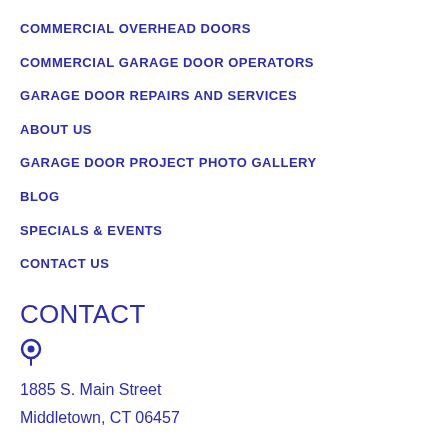COMMERCIAL OVERHEAD DOORS
COMMERCIAL GARAGE DOOR OPERATORS
GARAGE DOOR REPAIRS AND SERVICES
ABOUT US
GARAGE DOOR PROJECT PHOTO GALLERY
BLOG
SPECIALS & EVENTS
CONTACT US
CONTACT
1885 S. Main Street
Middletown, CT 06457